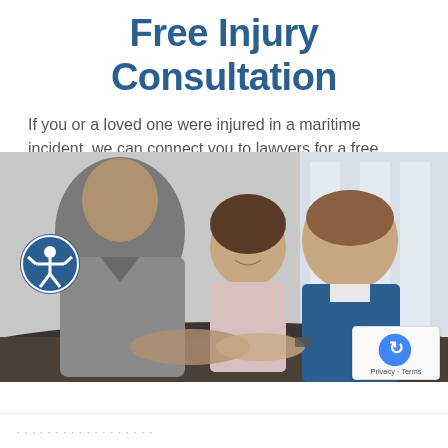Free Injury Consultation
If you or a loved one were injured in a maritime incident, we can connect you to lawyers for a free consultation about compensation that may be available to you.
[Figure (photo): Three people at a meeting table shaking hands — a lawyer consulting with a couple, two people smiling]
[Figure (logo): reCAPTCHA badge with Privacy and Terms text]
Privacy · Terms